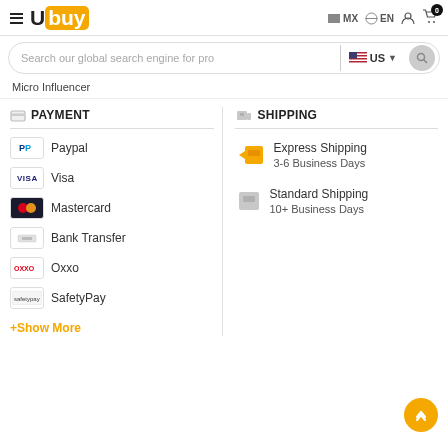Ubuy MX EN — navigation header with logo, cart (0), language and region selectors
Search our global search engine for pro  US
Micro Influencer
PAYMENT
Paypal
Visa
Mastercard
Bank Transfer
Oxxo
SafetyPay
+Show More
SHIPPING
Express Shipping
3-6 Business Days
Standard Shipping
10+ Business Days